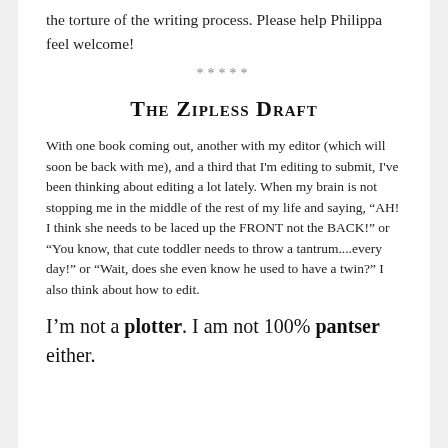the torture of the writing process. Please help Philippa feel welcome!
*****
The Zipless Draft
With one book coming out, another with my editor (which will soon be back with me), and a third that I'm editing to submit, I've been thinking about editing a lot lately. When my brain is not stopping me in the middle of the rest of my life and saying, “AH! I think she needs to be laced up the FRONT not the BACK!” or “You know, that cute toddler needs to throw a tantrum....every day!” or “Wait, does she even know he used to have a twin?” I also think about how to edit.
I’m not a plotter. I am not 100% pantser either.